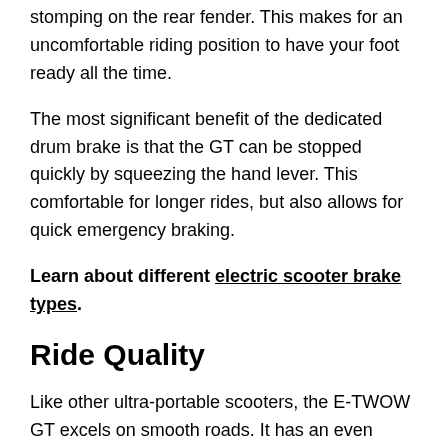stomping on the rear fender. This makes for an uncomfortable riding position to have your foot ready all the time.
The most significant benefit of the dedicated drum brake is that the GT can be stopped quickly by squeezing the hand lever. This comfortable for longer rides, but also allows for quick emergency braking.
Learn about different electric scooter brake types.
Ride Quality
Like other ultra-portable scooters, the E-TWOW GT excels on smooth roads. It has an even larger deck and a hand brake, so you don't have to ride with your rear foot hovering over the foot brake. The GT has a front